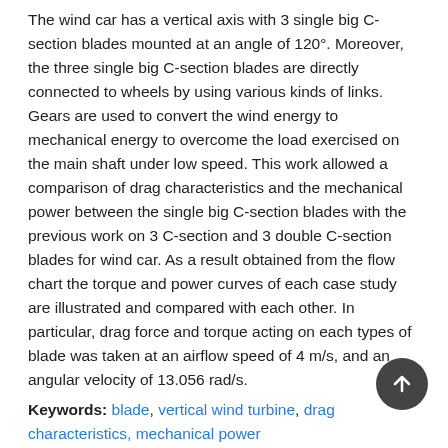The wind car has a vertical axis with 3 single big C-section blades mounted at an angle of 120°. Moreover, the three single big C-section blades are directly connected to wheels by using various kinds of links. Gears are used to convert the wind energy to mechanical energy to overcome the load exercised on the main shaft under low speed. This work allowed a comparison of drag characteristics and the mechanical power between the single big C-section blades with the previous work on 3 C-section and 3 double C-section blades for wind car. As a result obtained from the flow chart the torque and power curves of each case study are illustrated and compared with each other. In particular, drag force and torque acting on each types of blade was taken at an airflow speed of 4 m/s, and an angular velocity of 13.056 rad/s.
Keywords: blade, vertical wind turbine, drag characteristics, mechanical power